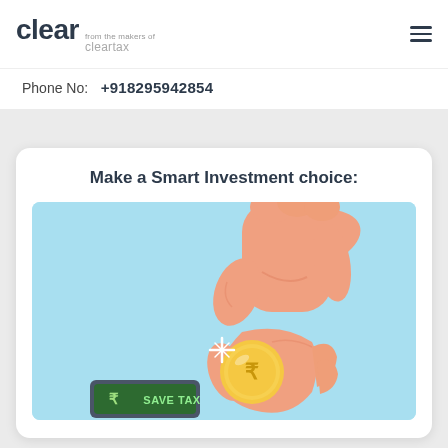clear from the makers of cleartax
Phone No:  +918295942854
Make a Smart Investment choice:
[Figure (illustration): Illustration of a hand picking up a gold coin with rupee symbol, above a device showing 'SAVE TAX', on a light blue background.]